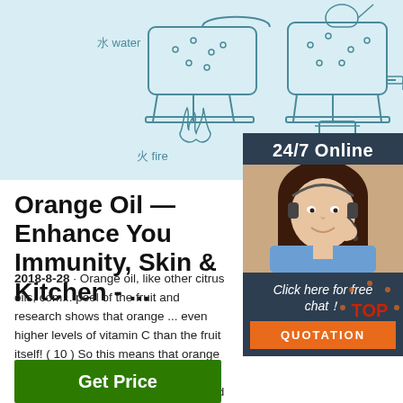[Figure (illustration): Light blue background with Chinese-labeled line-art diagram showing water distillation equipment: labeled 水 water, 火 fire, 纯露 Hydrosol]
[Figure (photo): 24/7 Online customer service sidebar showing a smiling woman with headset, with 'Click here for free chat!' text and orange QUOTATION button]
Orange Oil — Enhance You Immunity, Skin & Kitchen - ...
2018-8-28 · Orange oil, like other citrus oils, comes from the peel of the fruit and research shows that orange ... even higher levels of vitamin C than the fruit itself! ( 10 ) So this means that orange essential oil is also very beneficial for fighting signs of aging like wrinkles and dark spots since its high vitamin C content means it can ...
[Figure (logo): TOP button with orange dots around red TOP text]
Get Price